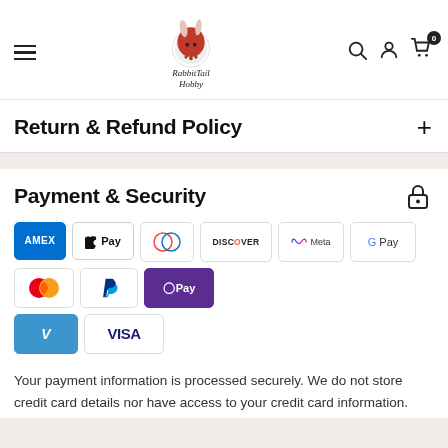RabbitTail Hobby — navigation header with logo, hamburger menu, search, account, and cart icons
Return & Refund Policy
Payment & Security
[Figure (infographic): Payment method icons: Amex, Apple Pay, Diners Club, Discover, Meta Pay, Google Pay, Mastercard, PayPal, OPay, Venmo, Visa]
Your payment information is processed securely. We do not store credit card details nor have access to your credit card information.